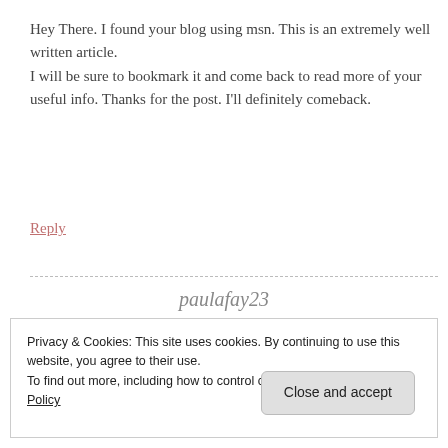Hey There. I found your blog using msn. This is an extremely well written article.
I will be sure to bookmark it and come back to read more of your
useful info. Thanks for the post. I'll definitely comeback.
Reply
paulafay23
Privacy & Cookies: This site uses cookies. By continuing to use this website, you agree to their use.
To find out more, including how to control cookies, see here: Cookie Policy
Close and accept